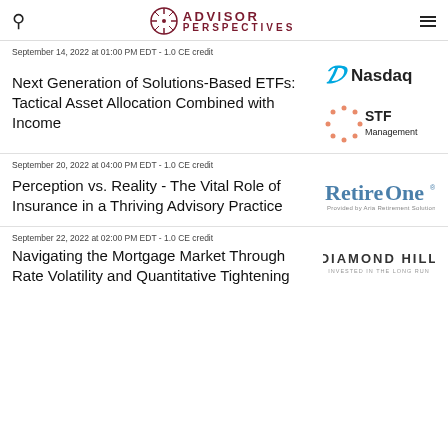Advisor Perspectives
September 14, 2022 at 01:00 PM EDT - 1.0 CE credit
Next Generation of Solutions-Based ETFs: Tactical Asset Allocation Combined with Income
[Figure (logo): Nasdaq logo]
[Figure (logo): STF Management logo]
September 20, 2022 at 04:00 PM EDT - 1.0 CE credit
Perception vs. Reality - The Vital Role of Insurance in a Thriving Advisory Practice
[Figure (logo): RetireOne - Provided by Aria Retirement Solutions logo]
September 22, 2022 at 02:00 PM EDT - 1.0 CE credit
Navigating the Mortgage Market Through Rate Volatility and Quantitative Tightening
[Figure (logo): Diamond Hill - Invested in the Long Run logo]